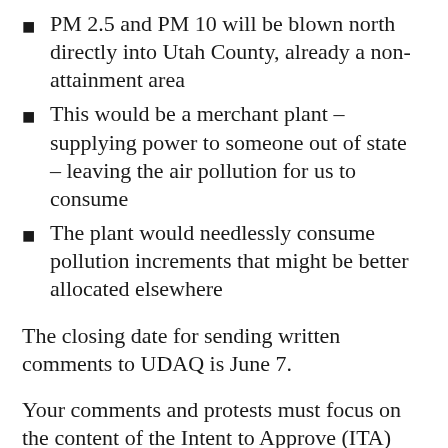PM 2.5 and PM 10 will be blown north directly into Utah County, already a non-attainment area
This would be a merchant plant – supplying power to someone out of state – leaving the air pollution for us to consume
The plant would needlessly consume pollution increments that might be better allocated elsewhere
The closing date for sending written comments to UDAQ is June 7.
Your comments and protests must focus on the content of the Intent to Approve (ITA) which, in turn, is focused on the Notice of